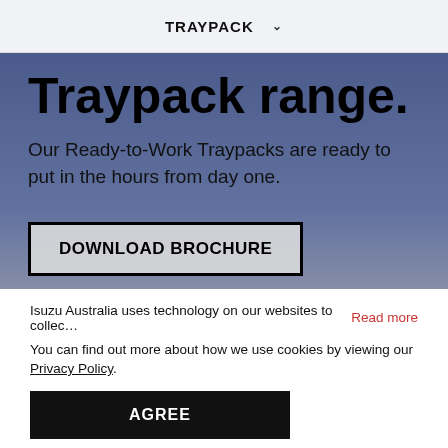TRAYPACK ∨
Traypack range.
Our Ready-to-Work Traypacks are ready to put in the hours from day one.
DOWNLOAD BROCHURE
Isuzu Australia uses technology on our websites to collec… Read more
You can find out more about how we use cookies by viewing our Privacy Policy.
AGREE